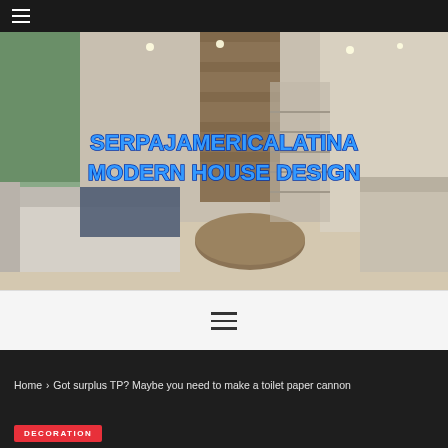☰ (hamburger menu icon)
[Figure (photo): Modern living room interior with open layout, light sofas, round wooden coffee table, large windows, staircase in background. Overlay text reads SERPAJAMERICALATINA MODERN HOUSE DESIGN in bold blue metallic font.]
[Figure (other): Navigation hamburger menu icon (three horizontal lines) centered on white bar]
Home > Got surplus TP? Maybe you need to make a toilet paper cannon
DECORATION